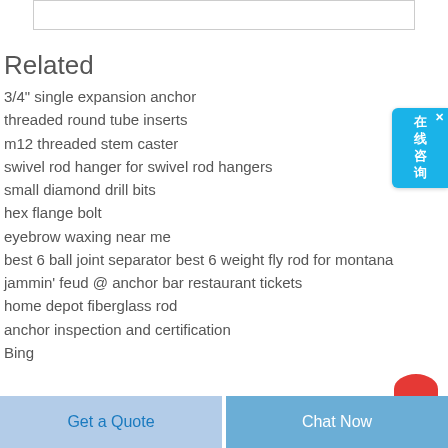Related
3/4" single expansion anchor
threaded round tube inserts
m12 threaded stem caster
swivel rod hanger for swivel rod hangers
small diamond drill bits
hex flange bolt
eyebrow waxing near me
best 6 ball joint separator best 6 weight fly rod for montana
jammin' feud @ anchor bar restaurant tickets
home depot fiberglass rod
anchor inspection and certification
Bing